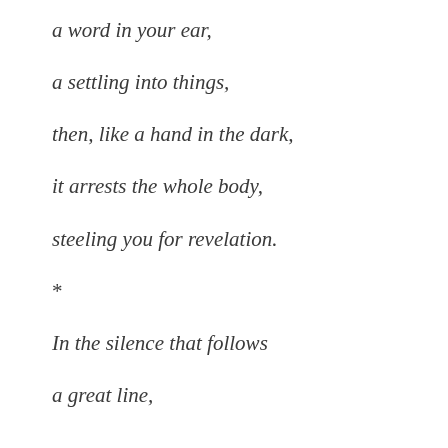a word in your ear,
a settling into things,
then, like a hand in the dark,
it arrests the whole body,
steeling you for revelation.
*
In the silence that follows
a great line,